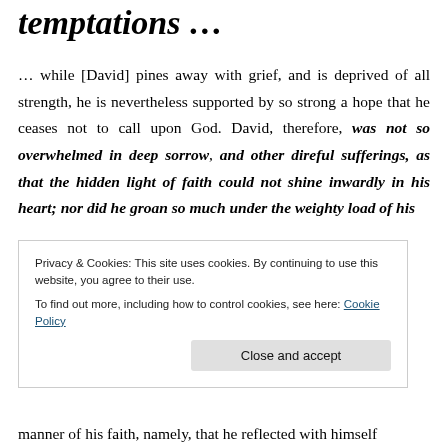temptations …
… while [David] pines away with grief, and is deprived of all strength, he is nevertheless supported by so strong a hope that he ceases not to call upon God. David, therefore, was not so overwhelmed in deep sorrow, and other direful sufferings, as that the hidden light of faith could not shine inwardly in his heart; nor did he groan so much under the weighty load of his temptations, as to be prevented from arousing himself
Privacy & Cookies: This site uses cookies. By continuing to use this website, you agree to their use.
To find out more, including how to control cookies, see here: Cookie Policy
manner of his faith, namely, that he reflected with himself